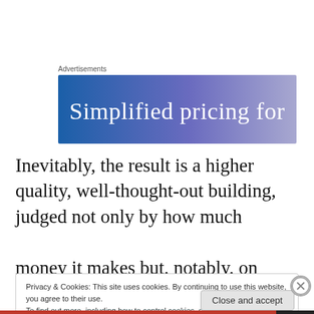Advertisements
[Figure (illustration): Advertisement banner with blue-to-purple gradient background and white text reading 'Simplified pricing for']
Inevitably, the result is a higher quality, well-thought-out building, judged not only by how much

money it makes but, notably, on design merit as well. If you want to sell in Miami – safe won't suffice.
Privacy & Cookies: This site uses cookies. By continuing to use this website, you agree to their use.
To find out more, including how to control cookies, see here: Cookie Policy